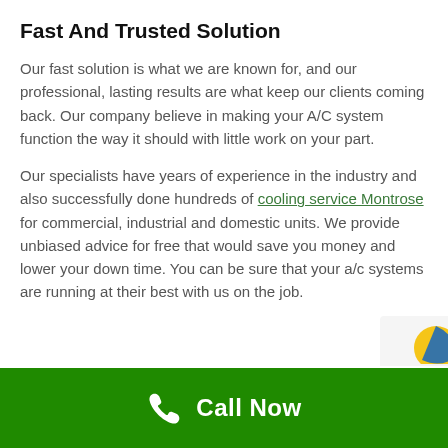Fast And Trusted Solution
Our fast solution is what we are known for, and our professional, lasting results are what keep our clients coming back. Our company believe in making your A/C system function the way it should with little work on your part.
Our specialists have years of experience in the industry and also successfully done hundreds of cooling service Montrose for commercial, industrial and domestic units. We provide unbiased advice for free that would save you money and lower your down time. You can be sure that your a/c systems are running at their best with us on the job.
Call Now